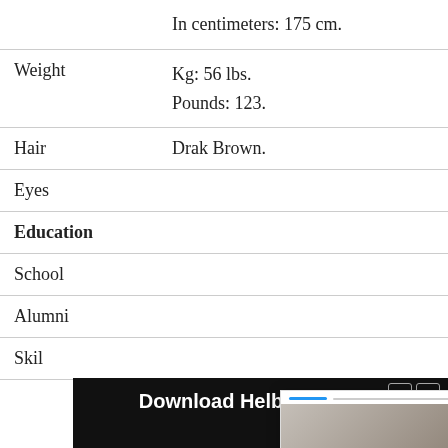|  | In centimeters: 175 cm. |
| Weight | Kg: 56 lbs.
Pounds: 123. |
| Hair | Drak Brown. |
| Eyes |  |
| Education |  |
| School |  |
| Alumni |  |
| Skill |  |
[Figure (screenshot): Popup overlay showing a woman's photo with progress bar and caption 'Maia Reficco Wiki, Boyfriend, Age,Height, Parents, Net Worth & More - Celebsweek- Biography', with a close button and right arrow]
[Figure (screenshot): Ad banner at the bottom: 'Download Helbiz and ride' with play and close icons]